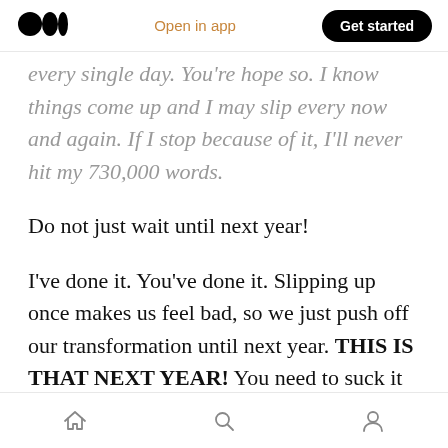Medium logo | Open in app | Get started
every single day. You're hope so. I know things come up and I may slip every now and again. If I stop because of it, I'll never hit my 730,000 words.
Do not just wait until next year!
I've done it. You've done it. Slipping up once makes us feel bad, so we just push off our transformation until next year. THIS IS THAT NEXT YEAR! You need to suck it up and get to your goals. One bad day doesn't define you.
Home | Search | Profile